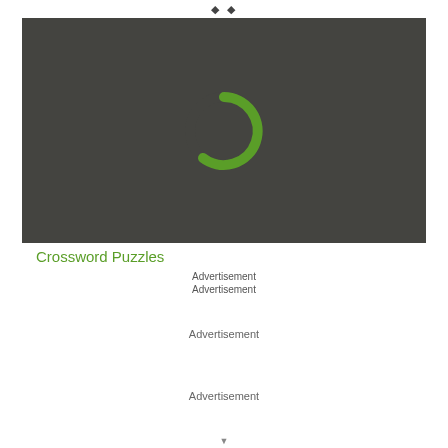♦ ♦
[Figure (screenshot): Dark gray video player with a green circular loading spinner icon centered in the frame]
Crossword Puzzles
Advertisement
Advertisement
Advertisement
Advertisement
▼